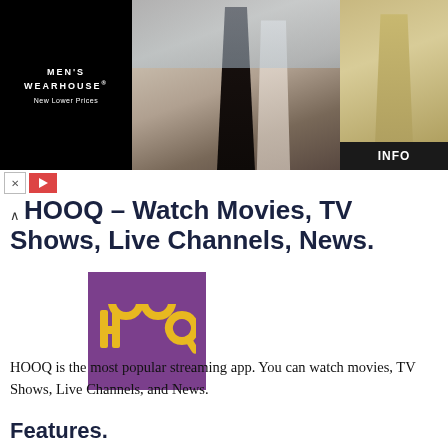[Figure (photo): Men's Wearhouse advertisement banner showing a couple in formal wear at a wedding, a man in a tan suit, and an INFO button]
HOOQ – Watch Movies, TV Shows, Live Channels, News.
[Figure (logo): HOOQ app logo — purple square with yellow HOOQ text]
HOOQ is the most popular streaming app. You can watch movies, TV Shows, Live Channels, and News.
Features.